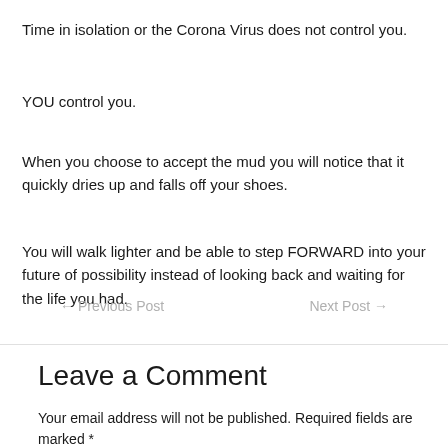Time in isolation or the Corona Virus does not control you.
YOU control you.
When you choose to accept the mud you will notice that it quickly dries up and falls off your shoes.
You will walk lighter and be able to step FORWARD into your future of possibility instead of looking back and waiting for the life you had.
← Previous Post    Next Post →
Leave a Comment
Your email address will not be published. Required fields are marked *